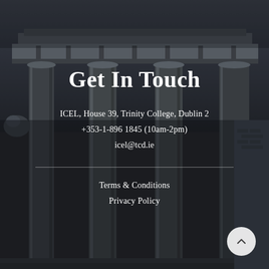[Figure (photo): Dark monochrome photograph of a neoclassical building with large stone columns and ornate architectural details, used as background]
Get In Touch
ICEL, House 39, Trinity College, Dublin 2
+353-1-896 1845 (10am-2pm)
icel@tcd.ie
Terms & Conditions
Privacy Policy